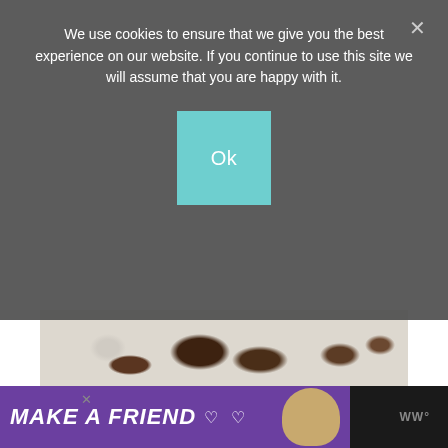We use cookies to ensure that we give you the best experience on our website. If you continue to use this site we will assume that you are happy with it.
[Figure (screenshot): Cookie consent overlay with dark semi-transparent background, cookie message text, teal Ok button, and close X button]
[Figure (photo): Photo strip showing soil/dirt and ground texture, partially visible behind overlay]
[Figure (screenshot): Advertisement banner at bottom: purple background with 'MAKE A FRIEND' text in white italic bold, dog illustration, close button, and logo]